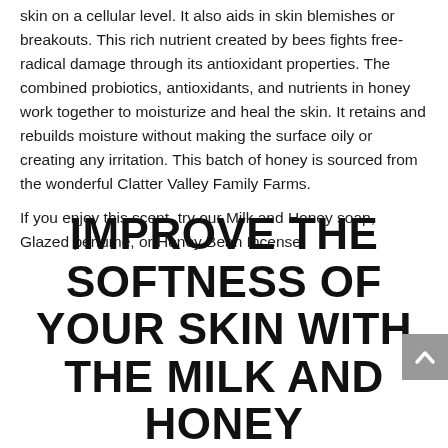skin on a cellular level. It also aids in skin blemishes or breakouts. This rich nutrient created by bees fights free-radical damage through its antioxidant properties. The combined probiotics, antioxidants, and nutrients in honey work together to moisturize and heal the skin. It retains and rebuilds moisture without making the surface oily or creating any irritation. This batch of honey is sourced from the wonderful Clatter Valley Family Farms.
If you enjoy this scent, try our Milk and Honey soap, Glazed perfume, or Honey Bean Incense.
IMPROVE THE SOFTNESS OF YOUR SKIN WITH THE MILK AND HONEY